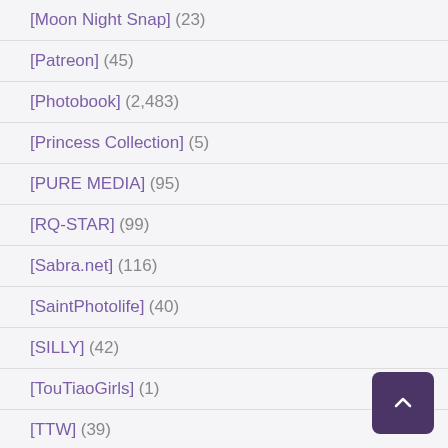[Moon Night Snap] (23)
[Patreon] (45)
[Photobook] (2,483)
[Princess Collection] (5)
[PURE MEDIA] (95)
[RQ-STAR] (99)
[Sabra.net] (116)
[SaintPhotolife] (40)
[SILLY] (42)
[TouTiaoGirls] (1)
[TTW] (39)
[VR] (85)